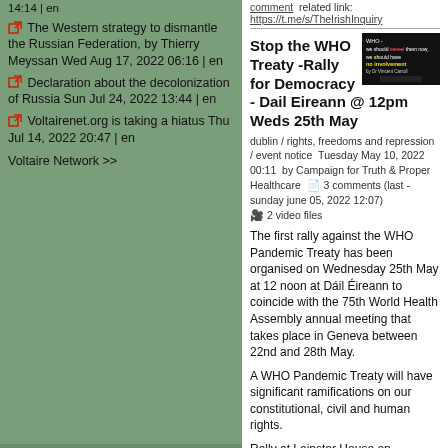14:14 | en
The Western strategy to dismantle the Russian Federation, by Thierry Meyssan Wed Aug 17, 2022 06:16 | en
Declaration about the decolonization of Russia Sun Jul 24, 2022 13:44 | en
Voltairenet.org is taking a hiatus Thu Jul 14, 2022 20:47 | en
Voltaire Network >>
comment   related link: https://t.me/s/TheIrishInquiry
Stop the WHO Treaty -Rally for Democracy - Dail Eireann @ 12pm Weds 25th May
[Figure (screenshot): Video thumbnail showing WHO - we should cancel them now, we should have no involvement, by Dr Vincent Carroll]
dublin / rights, freedoms and repression / event notice  Tuesday May 10, 2022 00:11  by Campaign for Truth & Proper Healthcare   3 comments (last - sunday june 05, 2022 12:07)  2 video files
The first rally against the WHO Pandemic Treaty has been organised on Wednesday 25th May at 12 noon at Dáil Éireann to coincide with the 75th World Health Assembly annual meeting that takes place in Geneva between 22nd and 28th May.
A WHO Pandemic Treaty will have significant ramifications on our constitutional, civil and human rights.
Rally at Leinster House on Wednesday 25th.
read full story / add a comment